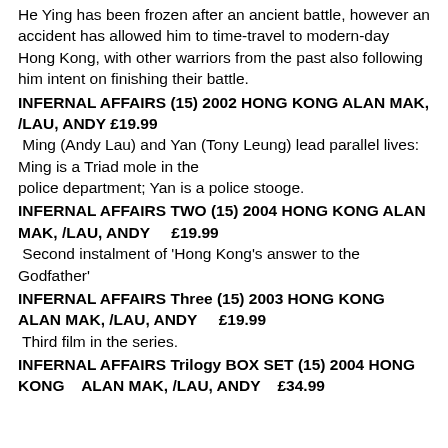He Ying has been frozen after an ancient battle, however an accident has allowed him to time-travel to modern-day Hong Kong, with other warriors from the past also following him intent on finishing their battle.
INFERNAL AFFAIRS (15) 2002 HONG KONG ALAN MAK, /LAU, ANDY £19.99
Ming (Andy Lau) and Yan (Tony Leung) lead parallel lives: Ming is a Triad mole in the police department; Yan is a police stooge.
INFERNAL AFFAIRS TWO (15) 2004 HONG KONG ALAN MAK, /LAU, ANDY    £19.99
Second instalment of 'Hong Kong's answer to the Godfather'
INFERNAL AFFAIRS Three (15) 2003 HONG KONG ALAN MAK, /LAU, ANDY    £19.99
Third film in the series.
INFERNAL AFFAIRS Trilogy BOX SET (15) 2004 HONG KONG   ALAN MAK, /LAU, ANDY   £34.99